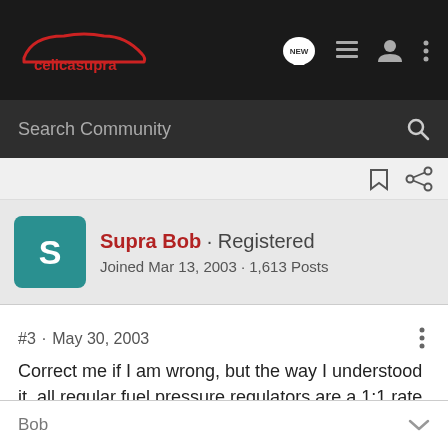celicasupra — navigation bar with logo, NEW chat icon, list icon, user icon, and more icon
Search Community
Supra Bob · Registered
Joined Mar 13, 2003 · 1,613 Posts
#3 · May 30, 2003
Correct me if I am wrong, but the way I understood it, all regular fuel pressure regulators are a 1:1 rate.
Bob